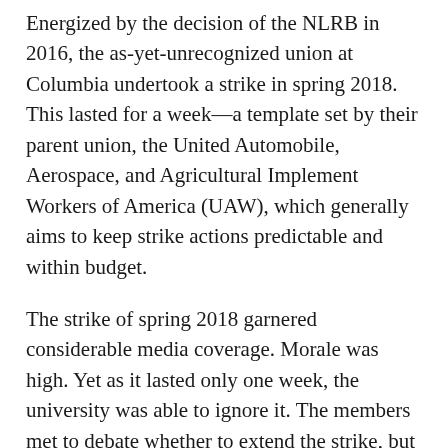Energized by the decision of the NLRB in 2016, the as-yet-unrecognized union at Columbia undertook a strike in spring 2018. This lasted for a week—a template set by their parent union, the United Automobile, Aerospace, and Agricultural Implement Workers of America (UAW), which generally aims to keep strike actions predictable and within budget.
The strike of spring 2018 garnered considerable media coverage. Morale was high. Yet as it lasted only one week, the university was able to ignore it. The members met to debate whether to extend the strike, but a poll suggested that there wasn't enough support to do so. They returned to work without making significant headway.
The outcome of that strike reflected longstanding